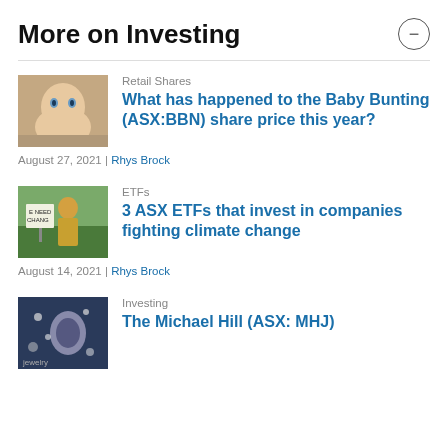More on Investing
[Figure (photo): Photo of a baby for Baby Bunting article]
Retail Shares
What has happened to the Baby Bunting (ASX:BBN) share price this year?
August 27, 2021 | Rhys Brock
[Figure (photo): Photo of climate change protesters for ETFs article]
ETFs
3 ASX ETFs that invest in companies fighting climate change
August 14, 2021 | Rhys Brock
[Figure (photo): Photo for Michael Hill article]
Investing
The Michael Hill (ASX: MHJ)